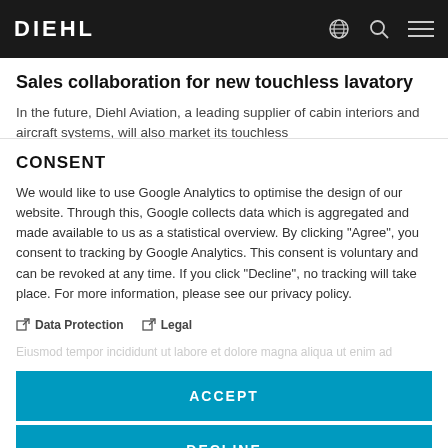DIEHL
Sales collaboration for new touchless lavatory
In the future, Diehl Aviation, a leading supplier of cabin interiors and aircraft systems, will also market its touchless
CONSENT
We would like to use Google Analytics to optimise the design of our website. Through this, Google collects data which is aggregated and made available to us as a statistical overview. By clicking "Agree", you consent to tracking by Google Analytics. This consent is voluntary and can be revoked at any time. If you click "Decline", no tracking will take place. For more information, please see our privacy policy.
Data Protection
Legal
ACCEPT
DECLINE